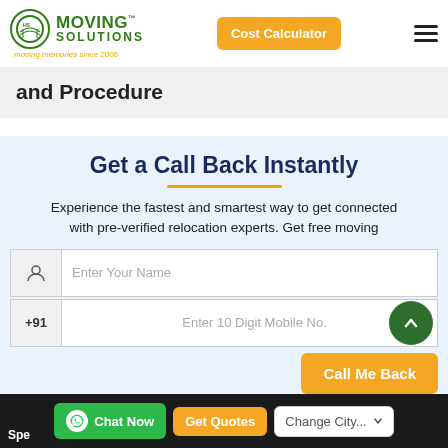Moving Solutions — Cost Calculator
and Procedure
Get a Call Back Instantly
Experience the fastest and smartest way to get connected with pre-verified relocation experts. Get free moving
Enter Your Name
+91  Enter 10 Digit Mobile No.
Call Me Back
Chat Now  Get Quotes  Change City...  Spec